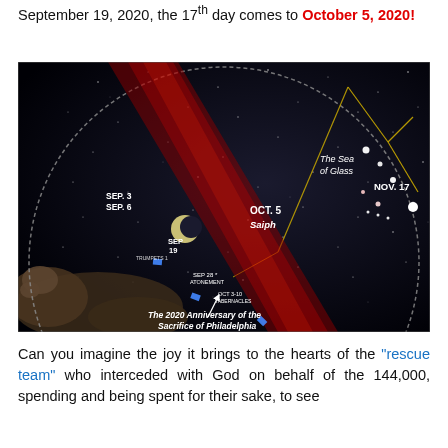September 19, 2020, the 17th day comes to October 5, 2020!
[Figure (other): Circular star-chart / astronomical diagram showing dates SEP. 3, SEP. 6, SEP 19, SEP 28 ATONEMENT, OCT 3-10 TABERNACLES, OCT. 5, NOV. 17, with labels 'The Sea of Glass', 'Saiph', 'The 2020 Anniversary of the Sacrifice of Philadelphia', overlaid on a night-sky star field with a lamb/sheep in the foreground.]
Can you imagine the joy it brings to the hearts of the "rescue team" who interceded with God on behalf of the 144,000, spending and being spent for their sake, to see...